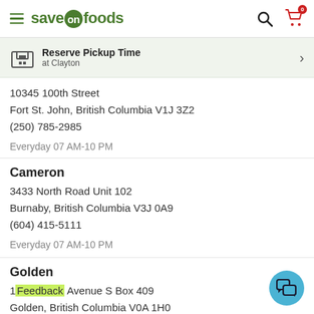Save On Foods — Reserve Pickup Time at Clayton
10345 100th Street
Fort St. John, British Columbia V1J 3Z2
(250) 785-2985

Everyday 07 AM-10 PM
Cameron
3433 North Road Unit 102
Burnaby, British Columbia V3J 0A9
(604) 415-5111

Everyday 07 AM-10 PM
Golden
1... Avenue S Box 409
Golden, British Columbia V0A 1H0
(250) 344-5315